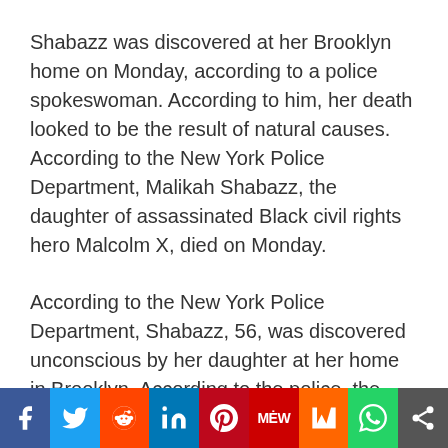Shabazz was discovered at her Brooklyn home on Monday, according to a police spokeswoman. According to him, her death looked to be the result of natural causes. According to the New York Police Department, Malikah Shabazz, the daughter of assassinated Black civil rights hero Malcolm X, died on Monday.
According to the New York Police Department, Shabazz, 56, was discovered unconscious by her daughter at her home in Brooklyn. According to the police, the death appeared to be the result of natural causes.
In a statement, a spokesman for New York City's
[Figure (infographic): Social media sharing bar with buttons for Facebook, Twitter, Reddit, LinkedIn, Pinterest, MeWe, Mix, WhatsApp, and a share icon]